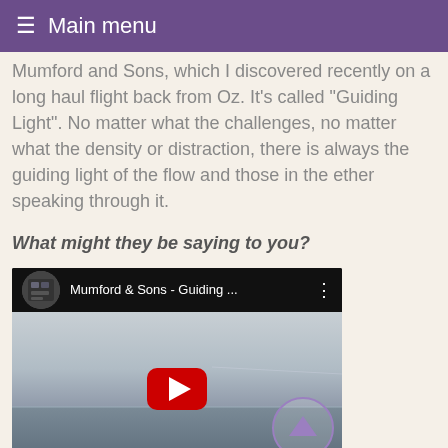≡ Main menu
Mumford and Sons, which I discovered recently on a long haul flight back from Oz. It's called "Guiding Light". No matter what the challenges, no matter what the density or distraction, there is always the guiding light of the flow and those in the ether speaking through it.
What might they be saying to you?
[Figure (screenshot): Embedded YouTube video player showing Mumford & Sons - Guiding ... with a landscape/ocean preview image and YouTube play button overlay]